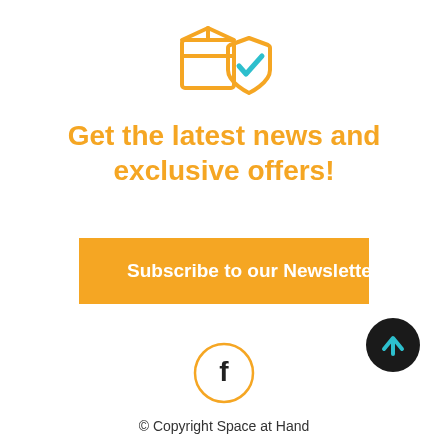[Figure (illustration): Orange package/box icon with an orange shield and a blue checkmark, centered at top]
Get the latest news and exclusive offers!
[Figure (illustration): Orange rectangle button labeled 'Subscribe to our Newsletter' in white bold text]
[Figure (illustration): Facebook icon: circle with orange border containing a lowercase 'f' letterform in black]
[Figure (illustration): Black circle button with a cyan/teal upward arrow, bottom-right corner]
© Copyright Space at Hand